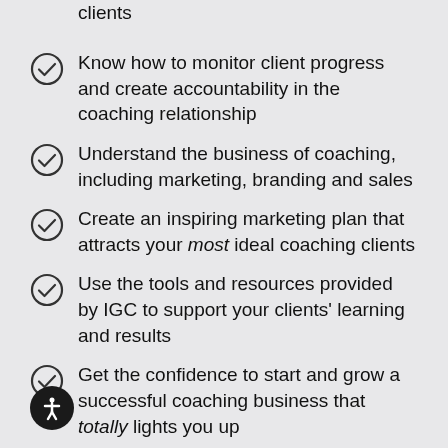clients
Know how to monitor client progress and create accountability in the coaching relationship
Understand the business of coaching, including marketing, branding and sales
Create an inspiring marketing plan that attracts your most ideal coaching clients
Use the tools and resources provided by IGC to support your clients' learning and results
Get the confidence to start and grow a successful coaching business that totally lights you up